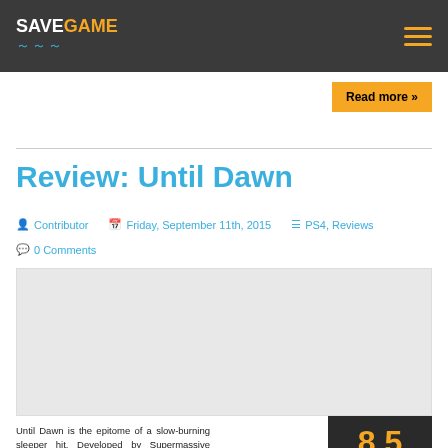SAVEGAME
Read more »
Review: Until Dawn
Contributor   Friday, September 11th, 2015   PS4, Reviews   0 Comments
[Figure (photo): Article hero image placeholder (light grey box)]
Until Dawn is the epitome of a slow-burning sleeper hit. Developed by Supermassive Games, this choose-your-own-adventure love letter to 90's horror arrived on the PS4 with
8.5 out of 10